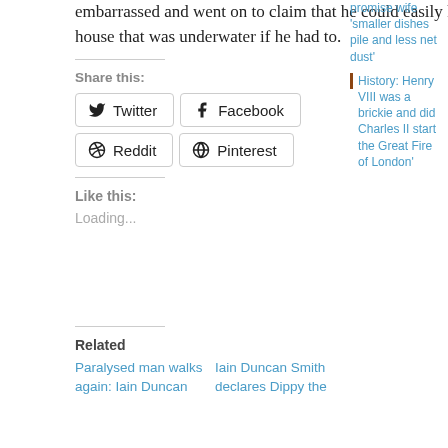embarrassed and went on to claim that he could easily live on £53 a week in a house that was underwater if he had to.
Share this:
Twitter | Facebook | Reddit | Pinterest
Like this:
Loading...
Related
Paralysed man walks again: Iain Duncan
Iain Duncan Smith declares Dippy the
promise wife 'smaller dishes pile and less net dust'
History: Henry VIII was a brickie and did Charles II start the Great Fire of London'